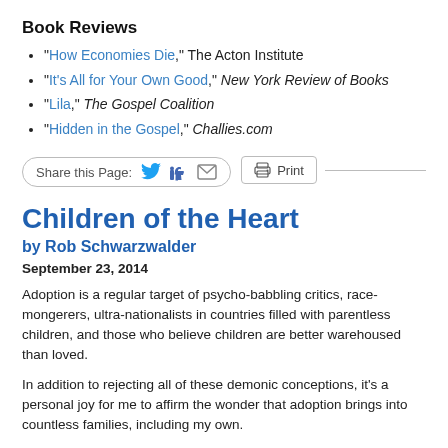Book Reviews
“How Economies Die,” The Acton Institute
“It’s All for Your Own Good,” New York Review of Books
“Lila,” The Gospel Coalition
“Hidden in the Gospel,” Challies.com
[Figure (other): Share this Page bar with Twitter, Facebook, email icons and Print button]
Children of the Heart
by Rob Schwarzwalder
September 23, 2014
Adoption is a regular target of psycho-babbling critics, race-mongerers, ultra-nationalists in countries filled with parentless children, and those who believe children are better warehoused than loved.
In addition to rejecting all of these demonic conceptions, it’s a personal joy for me to affirm the wonder that adoption brings into countless families, including my own.